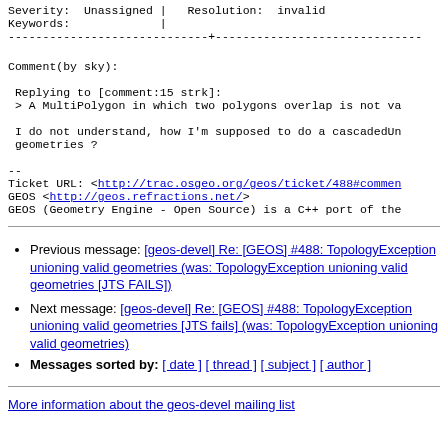Severity:  Unassigned |   Resolution:  invalid
Keywords:             |
-----------------------------+-------------------------------------------
Comment(by sky):
Replying to [comment:15 strk]:
> A MultiPolygon in which two polygons overlap is not va

I do not understand, how I'm supposed to do a cascadedUn
geometries ?
--
Ticket URL: <http://trac.osgeo.org/geos/ticket/488#commen
GEOS <http://geos.refractions.net/>
GEOS (Geometry Engine - Open Source) is a C++ port of the
Previous message: [geos-devel] Re: [GEOS] #488: TopologyException unioning valid geometries (was: TopologyException unioning valid geometries [JTS FAILS])
Next message: [geos-devel] Re: [GEOS] #488: TopologyException unioning valid geometries [JTS fails] (was: TopologyException unioning valid geometries)
Messages sorted by: [ date ] [ thread ] [ subject ] [ author ]
More information about the geos-devel mailing list